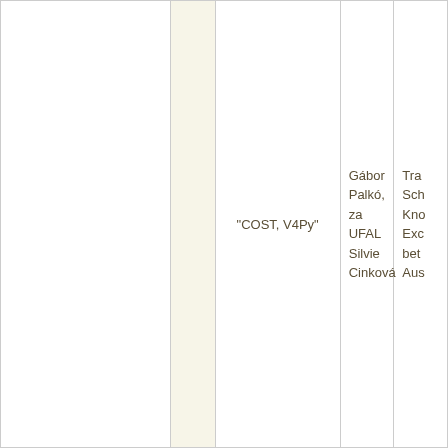|  |  | "COST, V4Py" | Gábor Palkó, za UFAL Silvie Cinková | Tra Sch Kno Exc bet Aus |